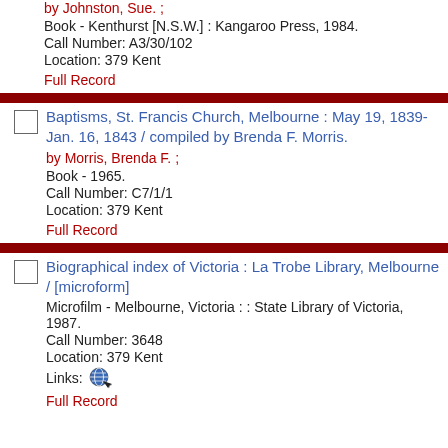by Johnston, Sue. ;
Book - Kenthurst [N.S.W.] : Kangaroo Press, 1984.
Call Number: A3/30/102
Location: 379 Kent
Full Record
Baptisms, St. Francis Church, Melbourne : May 19, 1839-Jan. 16, 1843 / compiled by Brenda F. Morris.
by Morris, Brenda F. ;
Book - 1965.
Call Number: C7/1/1
Location: 379 Kent
Full Record
Biographical index of Victoria : La Trobe Library, Melbourne / [microform]
Microfilm - Melbourne, Victoria : : State Library of Victoria, 1987.
Call Number: 3648
Location: 379 Kent
Links:
Full Record